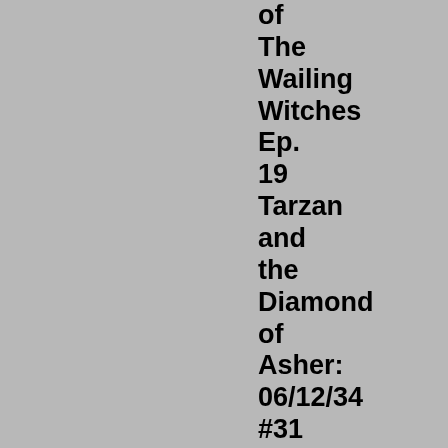of The Wailing Witches Ep. 19 Tarzan and the Diamond of Asher: 06/12/34 #31 Kills Saber Tooth Tiger Jerry Of The